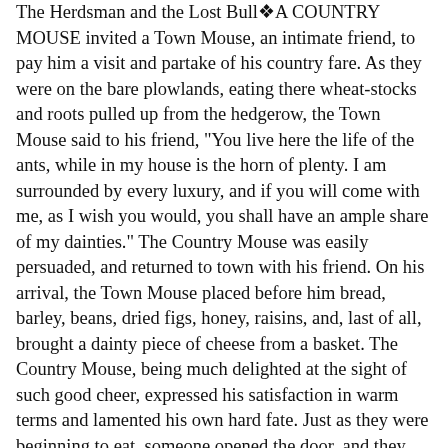The Herdsman and the Lost Bull❖A COUNTRY MOUSE invited a Town Mouse, an intimate friend, to pay him a visit and partake of his country fare. As they were on the bare plowlands, eating there wheat-stocks and roots pulled up from the hedgerow, the Town Mouse said to his friend, "You live here the life of the ants, while in my house is the horn of plenty. I am surrounded by every luxury, and if you will come with me, as I wish you would, you shall have an ample share of my dainties." The Country Mouse was easily persuaded, and returned to town with his friend. On his arrival, the Town Mouse placed before him bread, barley, beans, dried figs, honey, raisins, and, last of all, brought a dainty piece of cheese from a basket. The Country Mouse, being much delighted at the sight of such good cheer, expressed his satisfaction in warm terms and lamented his own hard fate. Just as they were beginning to eat, someone opened the door, and they both ran off squeaking, as fast as they could, to a hole so narrow that two could only find room in it by squeezing. They had scarcely begun their repast again when someone else entered to